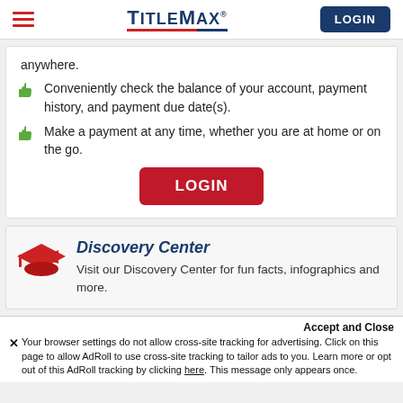TitleMax | LOGIN
anywhere.
Conveniently check the balance of your account, payment history, and payment due date(s).
Make a payment at any time, whether you are at home or on the go.
LOGIN
Discovery Center
Visit our Discovery Center for fun facts, infographics and more.
Accept and Close
Your browser settings do not allow cross-site tracking for advertising. Click on this page to allow AdRoll to use cross-site tracking to tailor ads to you. Learn more or opt out of this AdRoll tracking by clicking here. This message only appears once.